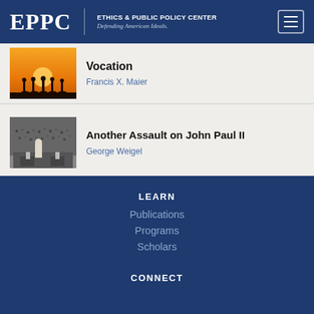EPPC | ETHICS & PUBLIC POLICY CENTER Defending American Ideals.
Vocation
Francis X. Maier
Another Assault on John Paul II
George Weigel
LEARN
Publications
Programs
Scholars
CONNECT